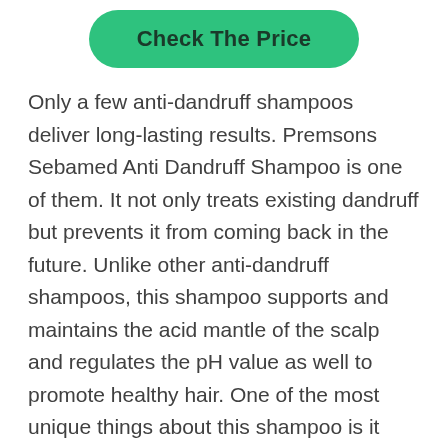[Figure (other): Green rounded button with text 'Check The Price']
Only a few anti-dandruff shampoos deliver long-lasting results. Premsons Sebamed Anti Dandruff Shampoo is one of them. It not only treats existing dandruff but prevents it from coming back in the future. Unlike other anti-dandruff shampoos, this shampoo supports and maintains the acid mantle of the scalp and regulates the pH value as well to promote healthy hair. One of the most unique things about this shampoo is it doesn't leave your hair and scalp dry after the wash.
It is completely soap and alkali free. Bless your hair with mild and gentle active ingredients like